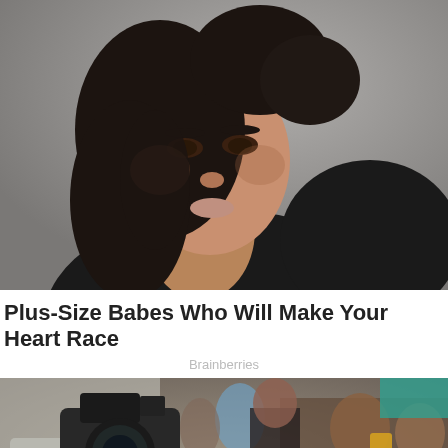[Figure (photo): Portrait photo of a young brunette woman with dark eyes, wearing a black sleeveless top, with a gray/neutral background. She is looking directly at the camera.]
Plus-Size Babes Who Will Make Your Heart Race
Brainberries
[Figure (photo): Street photo showing a person in a gray t-shirt holding a DSLR camera and a smartphone, with a golden retriever dog being petted in the foreground. Background shows a busy outdoor scene with people.]